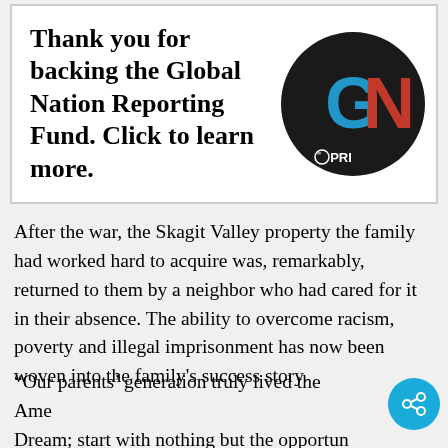[Figure (logo): Banner box with text 'Thank you for backing the Global Nation Reporting Fund. Click to learn more.' alongside a circular GN/PRI logo badge (black circle with blue G and red N lettering and 'PRI' text)]
After the war, the Skagit Valley property the family had worked hard to acquire was, remarkably, returned to them by a neighbor who had cared for it in their absence. The ability to overcome racism, poverty and illegal imprisonment has now been woven into the family's success story.
“Our parents’ generation truly lived the American Dream; start with nothing but the opportunity to work hard and build a legacy around the Sakuma